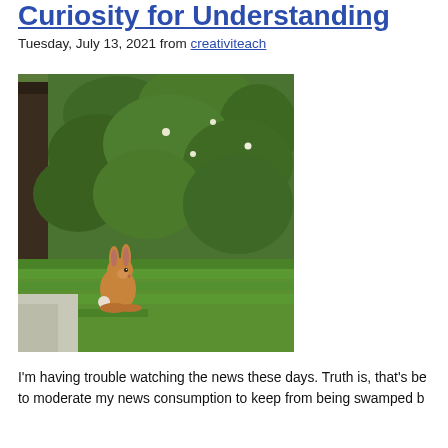Curiosity for Understanding
Tuesday, July 13, 2021 from creativiteach
[Figure (photo): A brown rabbit sitting on green grass in front of a lush green bush/shrub in a backyard garden setting. There is a dark wooden structure visible on the left side.]
I'm having trouble watching the news these days. Truth is, that's be... to moderate my news consumption to keep from being swamped b...